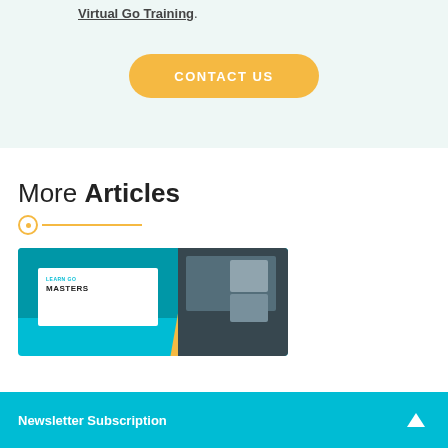Virtual Go Training.
CONTACT US
More Articles
[Figure (illustration): Article card thumbnail showing 'LEARN GO MASTERS' text with cyan background and a photo of people on a video call screen]
Newsletter Subscription